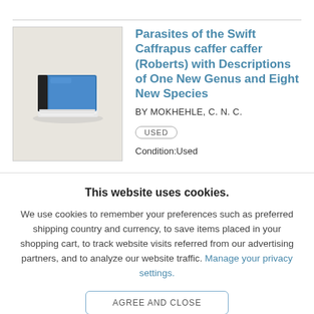[Figure (illustration): Book cover thumbnail showing a stylized stack of books with blue top cover and white pages, on a beige/cream background]
Parasites of the Swift Caffrapus caffer caffer (Roberts) with Descriptions of One New Genus and Eight New Species
BY MOKHEHLE, C. N. C.
USED
Condition:Used
This website uses cookies.
We use cookies to remember your preferences such as preferred shipping country and currency, to save items placed in your shopping cart, to track website visits referred from our advertising partners, and to analyze our website traffic. Manage your privacy settings.
AGREE AND CLOSE